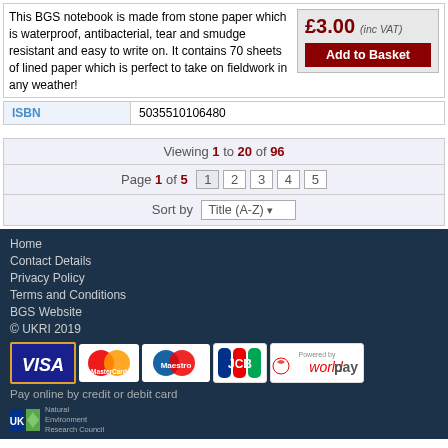This BGS notebook is made from stone paper which is waterproof, antibacterial, tear and smudge resistant and easy to write on. It contains 70 sheets of lined paper which is perfect to take on fieldwork in any weather!
£3.00 (inc VAT)
Add to Basket
| ISBN |  |
| --- | --- |
| ISBN | 5035510106480 |
Viewing 1 to 20 of 96
Page 1 of 5  1  2  3  4  5
Sort by Title (A-Z)
Home
Contact Details
Privacy Policy
Terms and Conditions
BGS Website
© UKRI 2019
[Figure (logo): Payment logos: VISA, MasterCard, Maestro, JCB, Worldpay]
Pay online by credit or debit card
[Figure (logo): UK Research and Innovation / Natural Environment Research Council logo]